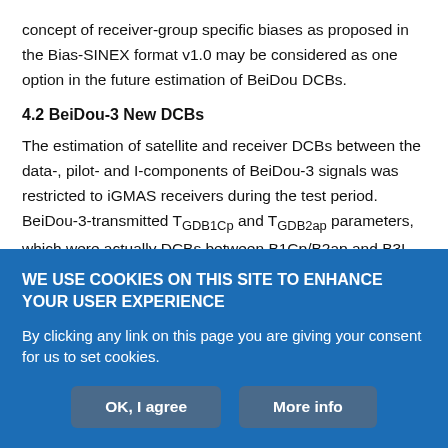concept of receiver-group specific biases as proposed in the Bias-SINEX format v1.0 may be considered as one option in the future estimation of BeiDou DCBs.
4.2 BeiDou-3 New DCBs
The estimation of satellite and receiver DCBs between the data-, pilot- and I-components of BeiDou-3 signals was restricted to iGMAS receivers during the test period. BeiDou-3-transmitted T_GDB1Cp and T_GDB2ap parameters, which were actually DCBs between B1Cp/B2ap and B3I signals, are also included for comparison. As BeiDou-3-transmitted TGD/ISC parameters were not recorded by iGMAS
WE USE COOKIES ON THIS SITE TO ENHANCE YOUR USER EXPERIENCE
By clicking any link on this page you are giving your consent for us to set cookies.